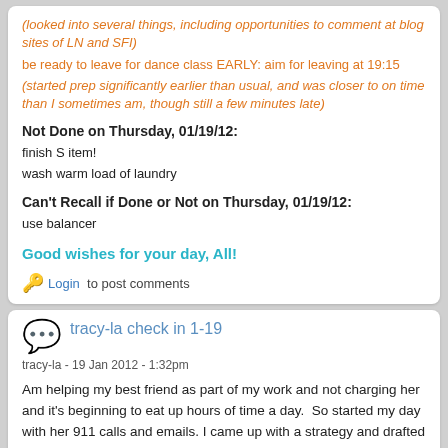(looked into several things, including opportunities to comment at blog sites of LN and SFI)
be ready to leave for dance class EARLY: aim for leaving at 19:15
(started prep significantly earlier than usual, and was closer to on time than I sometimes am, though still a few minutes late)
Not Done on Thursday, 01/19/12:
finish S item!
wash warm load of laundry
Can't Recall if Done or Not on Thursday, 01/19/12:
use balancer
Good wishes for your day, All!
Login to post comments
tracy-la check in 1-19
tracy-la - 19 Jan 2012 - 1:32pm
Am helping my best friend as part of my work and not charging her and it's beginning to eat up hours of time a day.  So started my day with her 911 calls and emails. I came up with a strategy and drafted a letter on it but it's time to set the boundaries. Spent 2 hours on that.
Time to shift to the other things to be done. Will write list and start